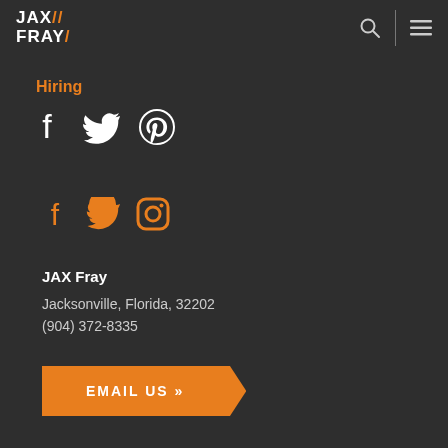JAX FRAY
Hiring
[Figure (illustration): White social media icons: Facebook, Twitter, Pinterest]
[Figure (illustration): Orange social media icons: Facebook, Twitter, Instagram]
JAX Fray
Jacksonville, Florida, 32202
(904) 372-8335
EMAIL US »